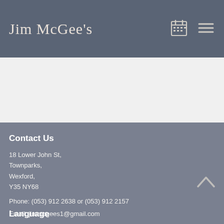Jim McGee's
Contact Us
18 Lower John St,
Townparks,
Wexford,
Y35 NY68
Phone: (053) 912 2638 or (053) 912 2157
Email: jimmcgees1@gmail.com
Language